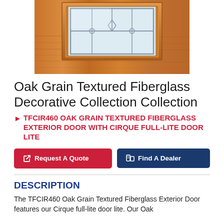[Figure (photo): Close-up photo of an oak grain textured fiberglass door panel with a decorative glass window insert (Cirque full-lite door lite) showing geometric lead-line pattern on frosted/textured glass, surrounded by a raised molding frame on a warm brown wood-grain textured door surface.]
Oak Grain Textured Fiberglass Decorative Collection Collection
▶ TFCIR460 OAK GRAIN TEXTURED FIBERGLASS EXTERIOR DOOR WITH CIRQUE FULL-LITE DOOR LITE
Request A Quote
Find A Dealer
DESCRIPTION
The TFCIR460 Oak Grain Textured Fiberglass Exterior Door features our Cirque full-lite door lite. Our Oak